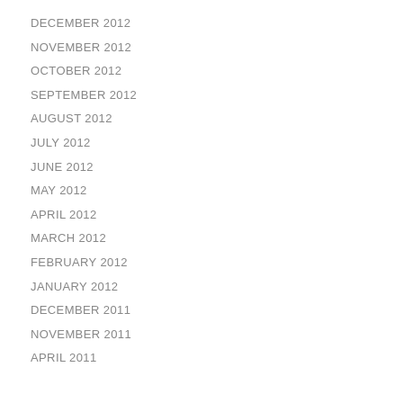DECEMBER 2012
NOVEMBER 2012
OCTOBER 2012
SEPTEMBER 2012
AUGUST 2012
JULY 2012
JUNE 2012
MAY 2012
APRIL 2012
MARCH 2012
FEBRUARY 2012
JANUARY 2012
DECEMBER 2011
NOVEMBER 2011
APRIL 2011